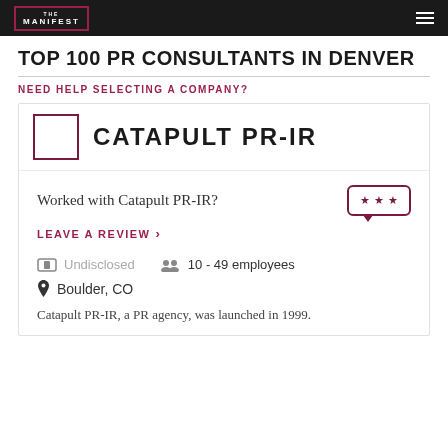THE MANIFEST
TOP 100 PR CONSULTANTS IN DENVER
NEED HELP SELECTING A COMPANY?
[Figure (logo): Catapult PR-IR company logo with bordered rectangle and company name in bold uppercase letters]
Worked with Catapult PR-IR?
LEAVE A REVIEW >
Undisclosed
10 - 49 employees
Boulder, CO
Catapult PR-IR, a PR agency, was launched in 1999.